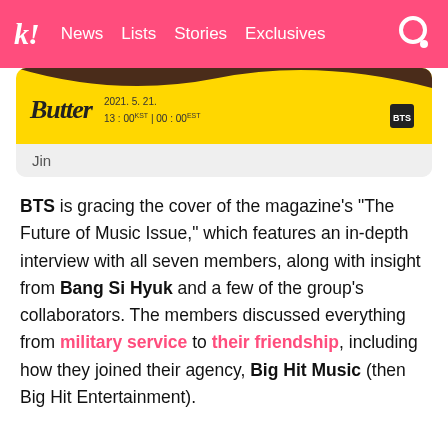k! News  Lists  Stories  Exclusives
[Figure (photo): BTS Butter single promotional banner with yellow background, Butter logo, date 2021.5.21. 13:00 KST | 00:00 EST, BTS logo top right]
Jin
BTS is gracing the cover of the magazine's "The Future of Music Issue," which features an in-depth interview with all seven members, along with insight from Bang Si Hyuk and a few of the group's collaborators. The members discussed everything from military service to their friendship, including how they joined their agency, Big Hit Music (then Big Hit Entertainment).